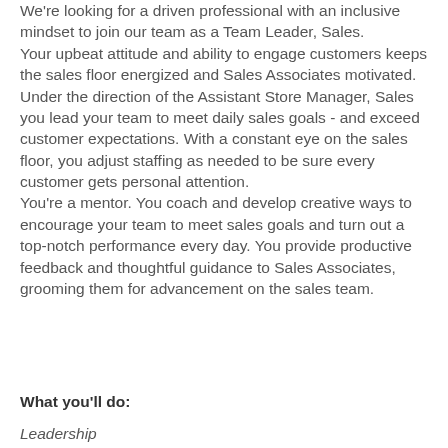We're looking for a driven professional with an inclusive mindset to join our team as a Team Leader, Sales. Your upbeat attitude and ability to engage customers keeps the sales floor energized and Sales Associates motivated. Under the direction of the Assistant Store Manager, Sales you lead your team to meet daily sales goals - and exceed customer expectations. With a constant eye on the sales floor, you adjust staffing as needed to be sure every customer gets personal attention. You're a mentor. You coach and develop creative ways to encourage your team to meet sales goals and turn out a top-notch performance every day. You provide productive feedback and thoughtful guidance to Sales Associates, grooming them for advancement on the sales team.
What you'll do:
Leadership